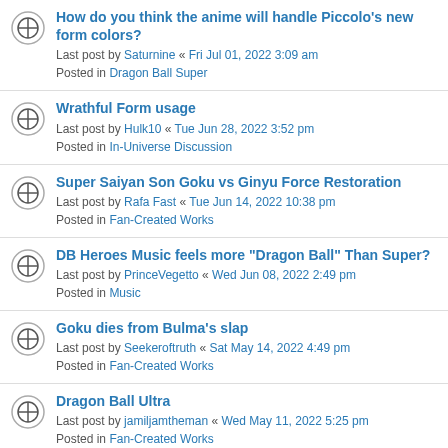How do you think the anime will handle Piccolo's new form colors?
Last post by Saturnine « Fri Jul 01, 2022 3:09 am
Posted in Dragon Ball Super
Wrathful Form usage
Last post by Hulk10 « Tue Jun 28, 2022 3:52 pm
Posted in In-Universe Discussion
Super Saiyan Son Goku vs Ginyu Force Restoration
Last post by Rafa Fast « Tue Jun 14, 2022 10:38 pm
Posted in Fan-Created Works
DB Heroes Music feels more "Dragon Ball" Than Super?
Last post by PrinceVegetto « Wed Jun 08, 2022 2:49 pm
Posted in Music
Goku dies from Bulma's slap
Last post by Seekeroftruth « Sat May 14, 2022 4:49 pm
Posted in Fan-Created Works
Dragon Ball Ultra
Last post by jamiljamtheman « Wed May 11, 2022 5:25 pm
Posted in Fan-Created Works
How Strong Are These Characters' Respective Counterparts?
Last post by Steven Bloodriver « Sun May 08, 2022 5:11 pm